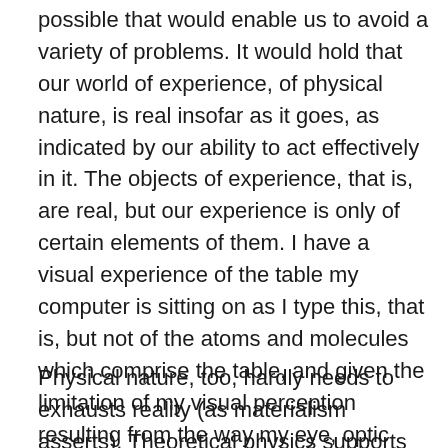possible that would enable us to avoid a variety of problems. It would hold that our world of experience, of physical nature, is real insofar as it goes, as indicated by our ability to act effectively in it. The objects of experience, that is, are real, but our experience is only of certain elements of them. I have a visual experience of the table my computer is sitting on as I type this, that is, but not of the atoms and molecules which comprise the table, and given the limitation of my visual perception resulting from the way my eye, optic nerve, and visual center in my brain is put together, this is to be expected. Physical nature extends beyond the senses, in other words, and this is the testimony of modern theoretical physics.
Physical nature, too, hardly needs to exhausts reality (as materialism asserts). Theoretical physics supports this idea as well. Theoretical physics is based on higher